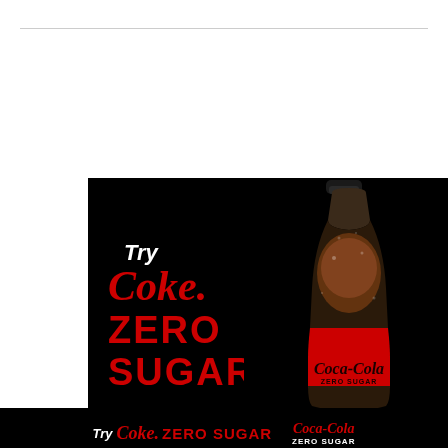[Figure (advertisement): Coca-Cola Zero Sugar advertisement. Black background with a bottle of Coca-Cola Zero Sugar on the right. Left side shows 'Try Coke. ZERO SUGAR' text in white and red. Bottom banner repeats the branding.]